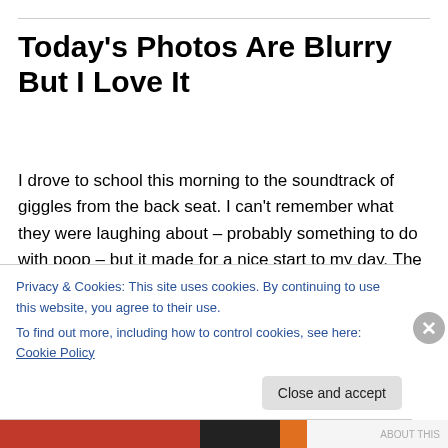Today's Photos Are Blurry But I Love It
I drove to school this morning to the soundtrack of giggles from the back seat. I can't remember what they were laughing about – probably something to do with poop – but it made for a nice start to my day. The sunshine and spring flowers didn't hurt either.
These photos are very blurry (I couldn't move fast...
Privacy & Cookies: This site uses cookies. By continuing to use this website, you agree to their use.
To find out more, including how to control cookies, see here: Cookie Policy
Close and accept